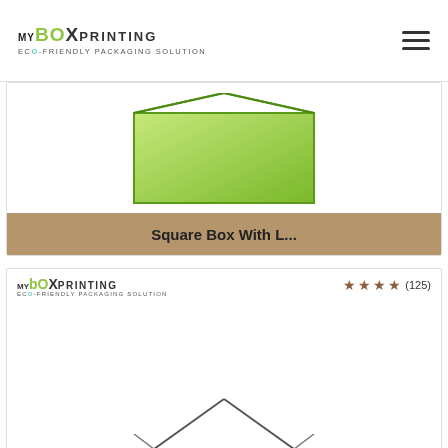MY BOX PRINTING - ECO-FRIENDLY PACKAGING SOLUTION
[Figure (illustration): Partial view of a green box lid with diagonal corner lines on white background, shown as a product card. Bottom label reads 'Square Box With L...' on a tan/brown background.]
Square Box With L...
[Figure (illustration): Second product card showing MyBoxPrinting logo in top-left, 4-star rating with (125) reviews in top-right, and a partial line-art box diagram at the bottom.]